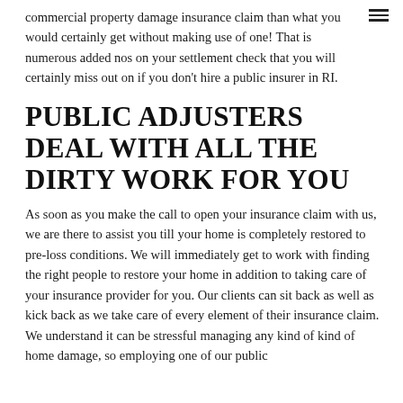commercial property damage insurance claim than what you would certainly get without making use of one! That is numerous added nos on your settlement check that you will certainly miss out on if you don't hire a public insurer in RI.
PUBLIC ADJUSTERS DEAL WITH ALL THE DIRTY WORK FOR YOU
As soon as you make the call to open your insurance claim with us, we are there to assist you till your home is completely restored to pre-loss conditions. We will immediately get to work with finding the right people to restore your home in addition to taking care of your insurance provider for you. Our clients can sit back as well as kick back as we take care of every element of their insurance claim. We understand it can be stressful managing any kind of kind of home damage, so employing one of our public